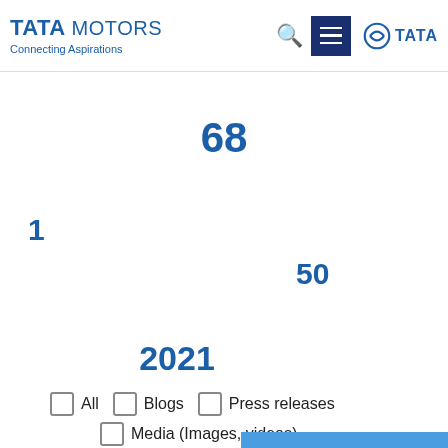TATA MOTORS — Connecting Aspirations
68
1 [unrenderable characters] [unrenderable characters] 50
2021[unrenderable characters]
All
Blogs
Press releases
Media (Images, videos)
Documents/ Re...